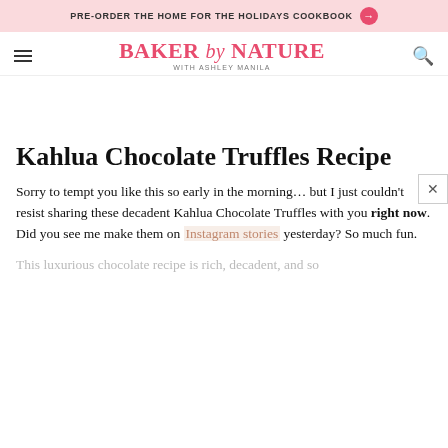PRE-ORDER THE HOME FOR THE HOLIDAYS COOKBOOK →
BAKER by NATURE WITH ASHLEY MANILA
Kahlua Chocolate Truffles Recipe
Sorry to tempt you like this so early in the morning… but I just couldn't resist sharing these decadent Kahlua Chocolate Truffles with you right now. Did you see me make them on Instagram stories yesterday? So much fun.
This luxurious chocolate recipe is rich, decadent, and so